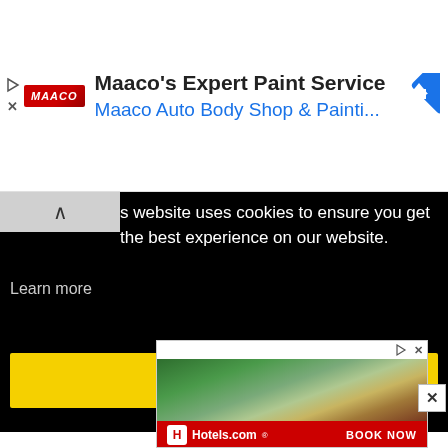[Figure (screenshot): Maaco auto body shop advertisement banner with logo, title 'Maaco's Expert Paint Service' and subtitle 'Maaco Auto Body Shop & Painti...' with navigation icon]
s website uses cookies to ensure you get the best experience on our website.
Learn more
Got it!
[Figure (screenshot): Jobs on Monster advertisement with purple Monster logo text]
[Figure (screenshot): Hotels.com advertisement banner showing aerial view of resort with 'BOOK NOW' call to action on red footer]